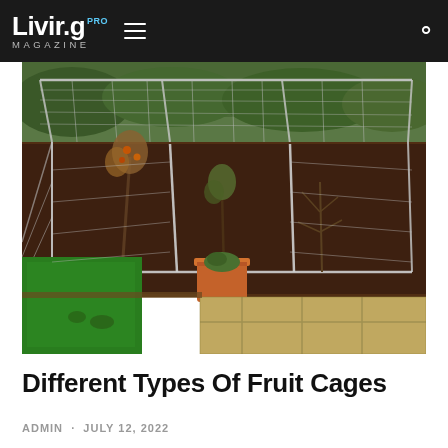Living.pro MAGAZINE
[Figure (photo): Garden with a large walk-in fruit cage made of metal frame and netting, covering raised beds with trees and shrubs. Green lawn in foreground, stone patio tiles in lower right, terracotta planter pot in center.]
Different Types Of Fruit Cages
ADMIN · JULY 12, 2022